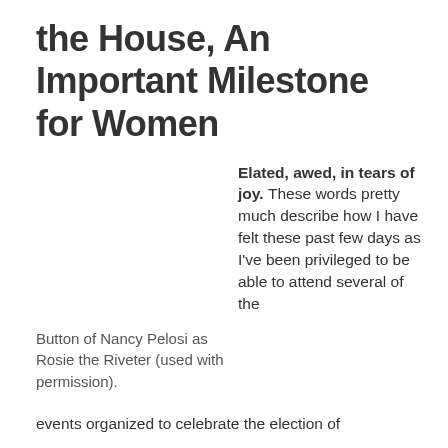the House, An Important Milestone for Women
Elated, awed, in tears of joy. These words pretty much describe how I have felt these past few days as I've been privileged to be able to attend several of the
Button of Nancy Pelosi as Rosie the Riveter (used with permission).
events organized to celebrate the election of